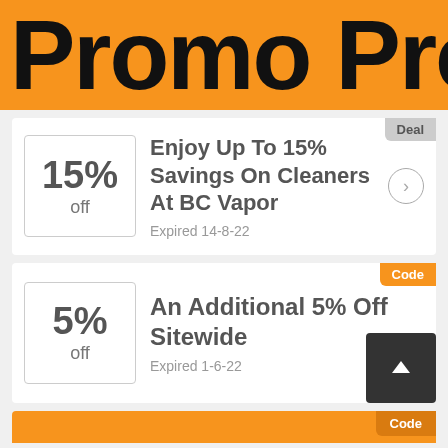Promo Pro
Deal
15% off
Enjoy Up To 15% Savings On Cleaners At BC Vapor
Expired 14-8-22
Code
5% off
An Additional 5% Off Sitewide
Expired 1-6-22
Code